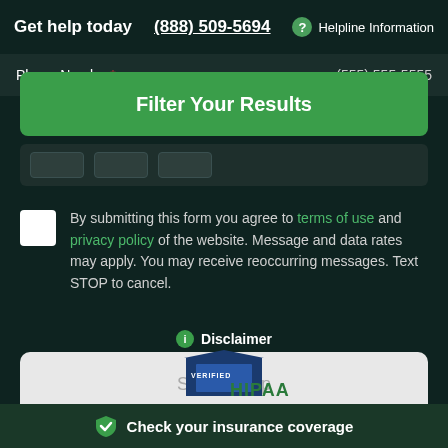Get help today  (888) 509-5694  Helpline Information
Phone Number * (555) 555-5555
Filter Your Results
By submitting this form you agree to terms of use and privacy policy of the website. Message and data rates may apply. You may receive reoccurring messages. Text STOP to cancel.
Sign Me Up
Disclaimer
[Figure (logo): HIPAA verified logo]
Check your insurance coverage